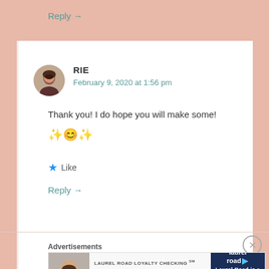Reply →
RIE
February 9, 2020 at 1:56 pm
Thank you! I do hope you will make some! ✨😊✨
★ Like
Reply →
Advertisements
[Figure (screenshot): Laurel Road Loyalty Checking advertisement: 'The only checking rewards that pay you when you get paid.' with a woman in sunglasses and the Laurel Road logo.]